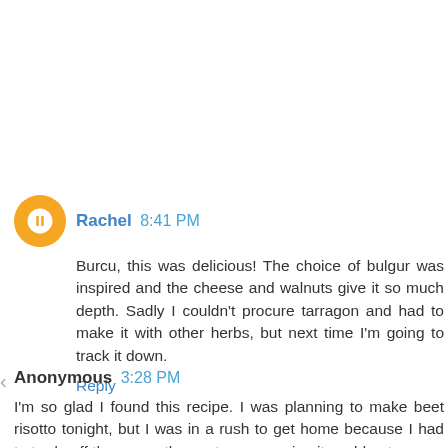Rachel  8:41 PM
Burcu, this was delicious! The choice of bulgur was inspired and the cheese and walnuts give it so much depth. Sadly I couldn't procure tarragon and had to make it with other herbs, but next time I'm going to track it down.
Reply
Anonymous  3:28 PM
I'm so glad I found this recipe. I was planning to make beet risotto tonight, but I was in a rush to get home because I had to trade off the car so the next person using it could get